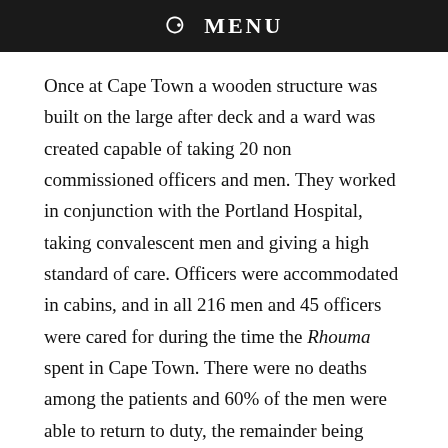☰ MENU
Once at Cape Town a wooden structure was built on the large after deck and a ward was created capable of taking 20 non commissioned officers and men. They worked in conjunction with the Portland Hospital, taking convalescent men and giving a high standard of care. Officers were accommodated in cabins, and in all 216 men and 45 officers were cared for during the time the Rhouma spent in Cape Town. There were no deaths among the patients and 60% of the men were able to return to duty, the remainder being invalided home.
Save for five weeks when he went to the front, George Bullough remained in charge throughout and also paid for all the care, food, excursions etc. The Rhouma had